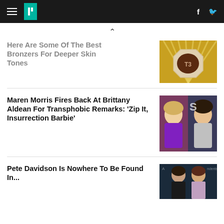HuffPost navigation bar with hamburger menu, logo, Facebook and Twitter icons
^
Here Are Some Of The Best Bronzers For Deeper Skin Tones
[Figure (photo): Close-up of a bronzer compact with 'T3' branding on a gold sunburst background]
Maren Morris Fires Back At Brittany Aldean For Transphobic Remarks: 'Zip It, Insurrection Barbie'
[Figure (photo): Side-by-side photo of two women, one in purple dress, one with dark hair]
Pete Davidson Is Nowhere To Be Found In...
[Figure (photo): Photo of Pete Davidson with another person at an event]